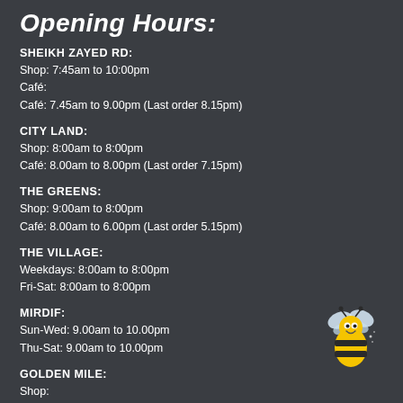Opening Hours:
SHEIKH ZAYED RD:
Shop: 7:45am to 10:00pm
Café:
Café: 7.45am to 9.00pm (Last order 8.15pm)
CITY LAND:
Shop: 8:00am to 8:00pm
Café: 8.00am to 8.00pm (Last order 7.15pm)
THE GREENS:
Shop: 9:00am to 8:00pm
Café: 8.00am to 6.00pm (Last order 5.15pm)
THE VILLAGE:
Weekdays: 8:00am to 8:00pm
Fri-Sat: 8:00am to 8:00pm
MIRDIF:
Sun-Wed: 9.00am to 10.00pm
Thu-Sat: 9.00am to 10.00pm
GOLDEN MILE:
Shop:
[Figure (illustration): Cartoon bee illustration with yellow and black striped body, white wings, and a smiling face]